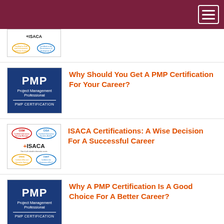[Figure (logo): ISACA certifications logo with CISA, CRISC, CGEIT badges — partial thumbnail]
[Figure (logo): PMP Project Management Professional certification logo — blue background]
Why Should You Get A PMP Certification For Your Career?
[Figure (logo): ISACA certifications logo with CISA, CRISC, CGEIT, ISACA wordmark badges]
ISACA Certifications: A Wise Decision For A Successful Career
[Figure (logo): PMP Project Management Professional certification logo — blue background]
Why A PMP Certification Is A Good Choice For A Better Career?
CISA Certification: For An